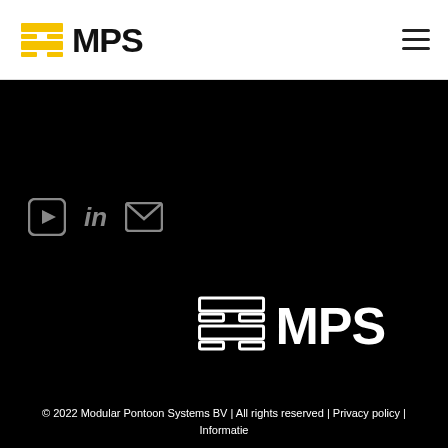[Figure (logo): MPS logo with yellow/gold stacked rectangles icon and bold black MPS text on white background, with hamburger menu icon on the right]
[Figure (logo): Social media icons on black background: YouTube play button, LinkedIn 'in', and email envelope icons in grey/white]
[Figure (logo): MPS logo in white on black background, with white stacked rectangles icon and bold white MPS text]
© 2022 Modular Pontoon Systems BV | All rights reserved | Privacy policy | Informatie